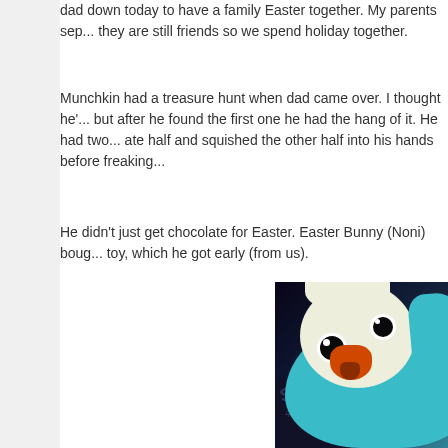dad down today to have a family Easter together. My parents sep... they are still friends so we spend holiday together.
Munchkin had a treasure hunt when dad came over. I thought he'... but after he found the first one he had the hang of it. He had two... ate half and squished the other half into his hands before freaking...
He didn't just get chocolate for Easter. Easter Bunny (Noni) boug... toy, which he got early (from us).
[Figure (photo): A plush stuffed animal toy resembling a blue and white chick/bird with orange beak, photographed in dim lighting against a dark background with patterned fabric visible.]